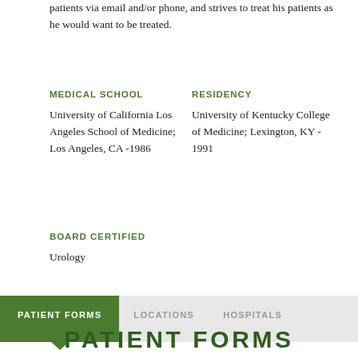patients via email and/or phone, and strives to treat his patients as he would want to be treated.
MEDICAL SCHOOL
University of California Los Angeles School of Medicine; Los Angeles, CA -1986
RESIDENCY
University of Kentucky College of Medicine; Lexington, KY - 1991
BOARD CERTIFIED
Urology
PATIENT FORMS   LOCATIONS   HOSPITALS
PATIENT FORMS